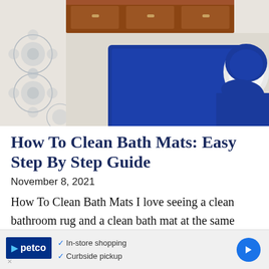[Figure (photo): Overhead view of a bathroom floor with blue bath mats on white patterned tile, brown wooden vanity cabinet, and toilet with blue toilet cover.]
How To Clean Bath Mats: Easy Step By Step Guide
November 8, 2021
How To Clean Bath Mats I love seeing a clean bathroom rug and a clean bath mat at the same time. Having the fluffiest bathroom rugs
[Figure (infographic): Petco advertisement banner showing logo, In-store shopping and Curbside pickup checkmarks, and a blue arrow navigation button.]